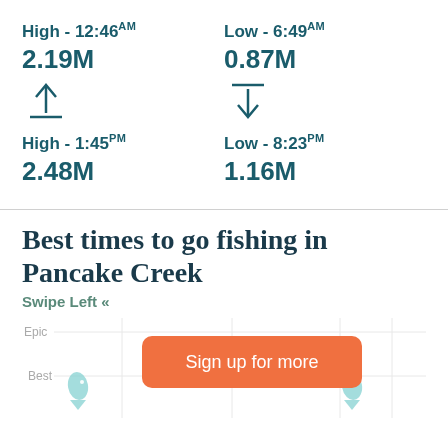High - 12:46AM
2.19M
Low - 6:49AM
0.87M
High - 1:45PM
2.48M
Low - 8:23PM
1.16M
Best times to go fishing in Pancake Creek
Swipe Left «
[Figure (infographic): Fishing times chart with Epic/Best labels, fish icons, and a Sign up for more orange button overlay]